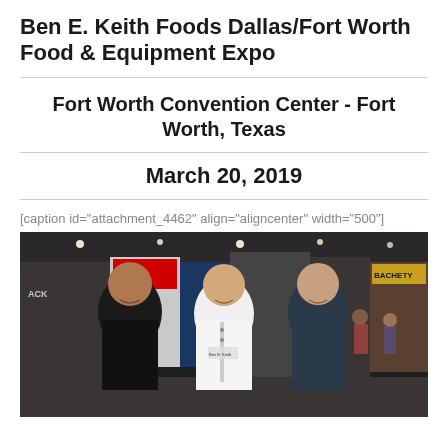Ben E. Keith Foods Dallas/Fort Worth Food & Equipment Expo
Fort Worth Convention Center - Fort Worth, Texas
March 20, 2019
[caption id="attachment_4462" align="aligncenter" width="500"]
[Figure (photo): Three men standing together and smiling at a food expo/trade show event. The man on the left wears a dark polo shirt, the man in the center wears a white chef's coat, and the man on the right wears a dark shirt. Trade show booths and other attendees are visible in the background.]